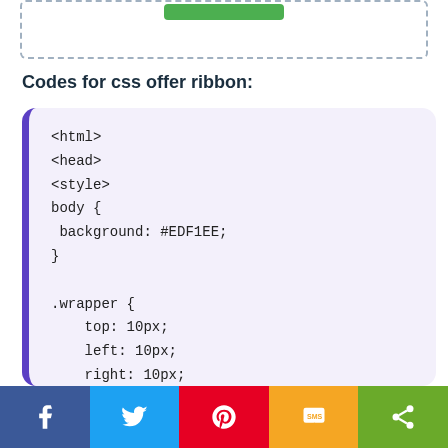[Figure (screenshot): Top portion of a UI box with dashed border and a green button at the top center]
Codes for css offer ribbon:
<html>
<head>
<style>
body {
 background: #EDF1EE;
}

.wrapper {
    top: 10px;
    left: 10px;
    right: 10px;
    bottom: 10px;
[Figure (screenshot): Social share bar with Facebook, Twitter, Pinterest, SMS, and Share buttons]